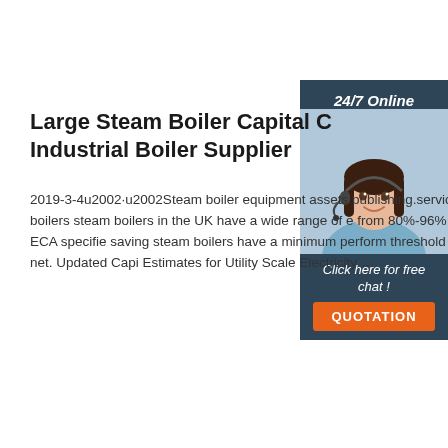Large Steam Boiler Capital C Industrial Boiler Supplier
2019-3-4u2002·u2002Steam boiler equipment assets.publishing.service.gov.uk Steam boilers steam boilers in the UK have a wide range of e from 80%-96% net at 100% load. ECA specifie saving steam boilers have a minimum perform threshold efficiency of 92% net. Updated Capi Estimates for Utility Scale Electricity …
[Figure (photo): Customer service representative with headset, smiling. Panel with dark background showing '24/7 Online', 'Click here for free chat!', and 'QUOTATION' button.]
Get Price